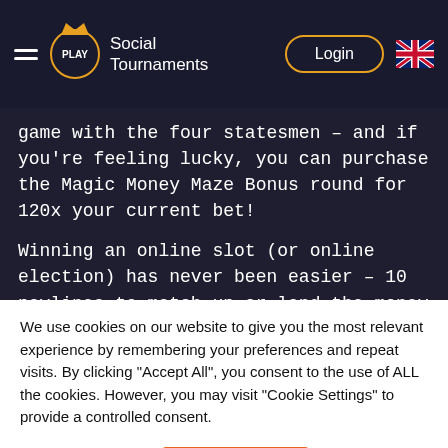Social Tournaments — Login
game with the four statesmen – and if you're feeling lucky, you can purchase the Magic Money Maze Bonus round for 120x your current bet!
Winning an online slot (or online election) has never been easier – 10 paylines to match up or land the money symbol to activate the bonus round while
We use cookies on our website to give you the most relevant experience by remembering your preferences and repeat visits. By clicking "Accept All", you consent to the use of ALL the cookies. However, you may visit "Cookie Settings" to provide a controlled consent.
Cookie Settings | Accept All